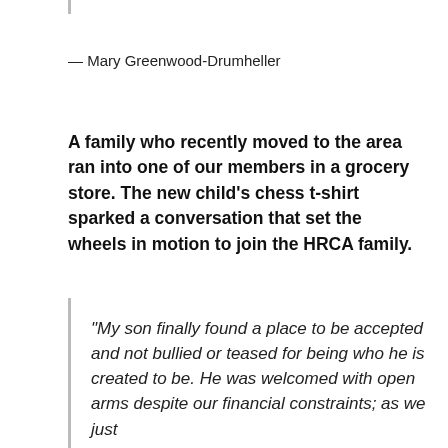— Mary Greenwood-Drumheller
A family who recently moved to the area ran into one of our members in a grocery store. The new child's chess t-shirt sparked a conversation that set the wheels in motion to join the HRCA family.
“My son finally found a place to be accepted and not bullied or teased for being who he is created to be. He was welcomed with open arms despite our financial constraints; as we just